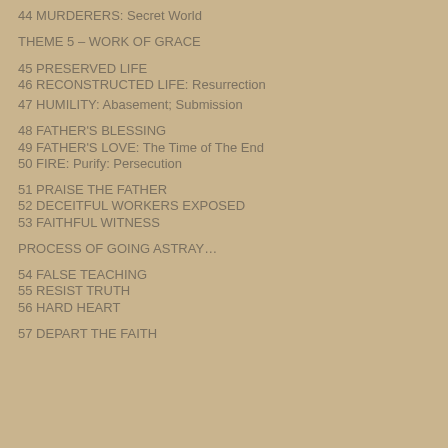44 MURDERERS: Secret World
THEME 5 – WORK OF GRACE
45 PRESERVED LIFE
46 RECONSTRUCTED LIFE: Resurrection
47 HUMILITY: Abasement; Submission
48 FATHER'S BLESSING
49 FATHER'S LOVE: The Time of The End
50 FIRE: Purify: Persecution
51 PRAISE THE FATHER
52 DECEITFUL WORKERS EXPOSED
53 FAITHFUL WITNESS
PROCESS OF GOING ASTRAY…
54 FALSE TEACHING
55 RESIST TRUTH
56 HARD HEART
57 DEPART THE FAITH